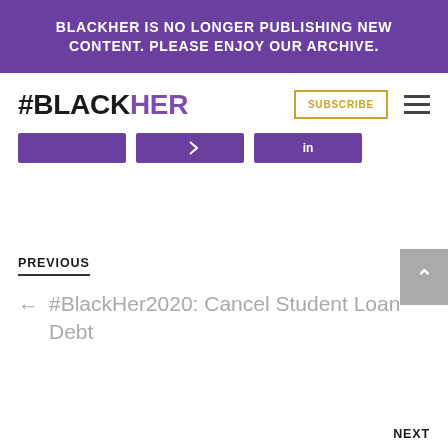BLACKHER IS NO LONGER PUBLISHING NEW CONTENT. PLEASE ENJOY OUR ARCHIVE.
#BLACKHER
[Figure (other): Three purple social share buttons in a row]
PREVIOUS
← #BlackHer2020: Cancel Student Loan Debt
NEXT